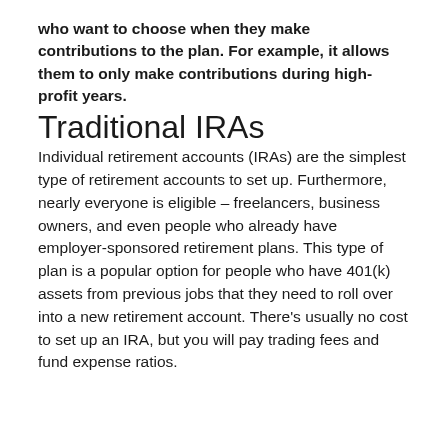who want to choose when they make contributions to the plan. For example, it allows them to only make contributions during high-profit years.
Traditional IRAs
Individual retirement accounts (IRAs) are the simplest type of retirement accounts to set up. Furthermore, nearly everyone is eligible – freelancers, business owners, and even people who already have employer-sponsored retirement plans. This type of plan is a popular option for people who have 401(k) assets from previous jobs that they need to roll over into a new retirement account. There's usually no cost to set up an IRA, but you will pay trading fees and fund expense ratios.